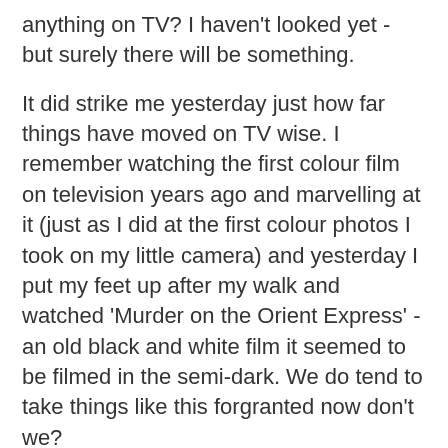anything on TV?   I haven't looked yet - but surely there will be something.
It did strike me yesterday just how far things have moved on TV wise.  I remember watching the first colour film on television years ago and marvelling at it (just as I did at the first colour photos I took on my little camera) and yesterday I put my feet up after my walk and watched 'Murder on the Orient Express' - an old black and white film it seemed to be filmed in the semi-dark.   We do tend to take things like this forgranted now don't we?
I have friends who have hens - not many but enough to provide their needs egg wise.   Now all birds have to be shut up because of fowl pest.   My friends have taken great care with how they have housed their hens (lucky hens indeed) but I read in today's Times how many folk who decided to keep a few hens during lockdown can't be bothered with them now